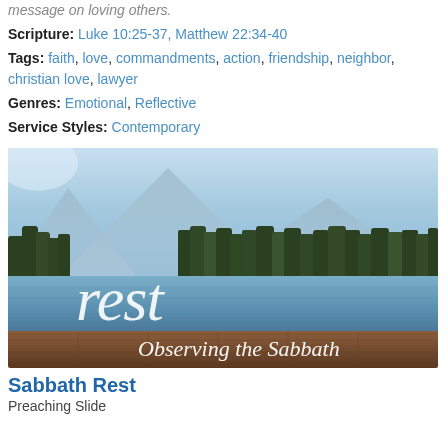message on loving others.
Scripture: Luke 10:25-37, Matthew 22:34-40
Tags: faith, love, commandments, action, friendship, neighbor, christian love, lawyer
Genres: Emotional, Reflective
Service Styles: Contemporary
[Figure (illustration): A scenic lake landscape with mountains and trees reflected in calm water, wooden dock in foreground. Text overlay reads 'rest' in large italic white letters and 'Observing the Sabbath' in white italic below.]
Sabbath Rest
Preaching Slide